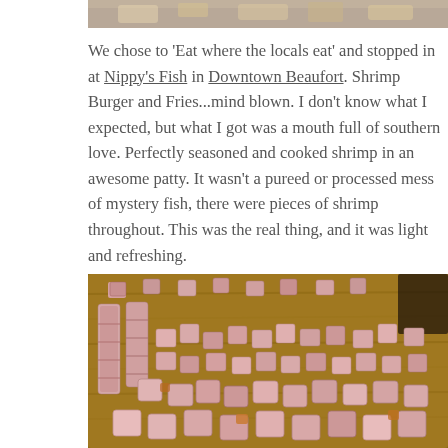[Figure (photo): Partial top view of a food dish, cropped at the top of the page]
We chose to 'Eat where the locals eat' and stopped in at Nippy's Fish in Downtown Beaufort. Shrimp Burger and Fries...mind blown. I don't know what I expected, but what I got was a mouth full of southern love. Perfectly seasoned and cooked shrimp in an awesome patty. It wasn't a pureed or processed mess of mystery fish, there were pieces of shrimp throughout. This was the real thing, and it was light and refreshing.
[Figure (photo): Diced ham or bacon pieces piled on a wooden cutting board, close-up food photography]